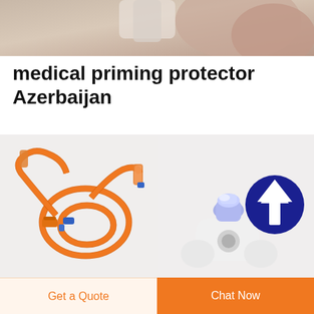[Figure (photo): Close-up photo of a medical device or hand, cropped header image]
medical priming protector Azerbaijan
[Figure (photo): BQ PLUS Oncology infusion set - orange coiled medical tubing with connectors]
BQ PLUS Oncology infusion set
[Figure (photo): BQ PLUS Vial adaptor and needle free set - white plastic adaptor with blue/purple vial, dark blue circle with up arrow icon]
BQ PLUS Vial adaptor and needle free set
Get a Quote
Chat Now